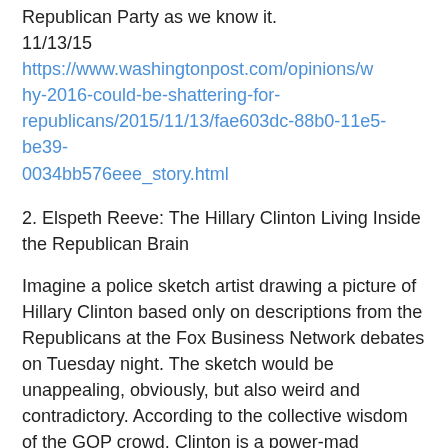Republican Party as we know it. 11/13/15 https://www.washingtonpost.com/opinions/why-2016-could-be-shattering-for-republicans/2015/11/13/fae603dc-88b0-11e5-be39-0034bb576eee_story.html
2. Elspeth Reeve: The Hillary Clinton Living Inside the Republican Brain
Imagine a police sketch artist drawing a picture of Hillary Clinton based only on descriptions from the Republicans at the Fox Business Network debates on Tuesday night. The sketch would be unappealing, obviously, but also weird and contradictory. According to the collective wisdom of the GOP crowd, Clinton is a power-mad monster who is nearly unstoppable, but she’s also weak. She is afraid of debating Republicans, but Republican debates are making her stronger. She is a hard leftist who hasn’t been shaken from her mission to drive America into socialism, but also a flip-flopper.